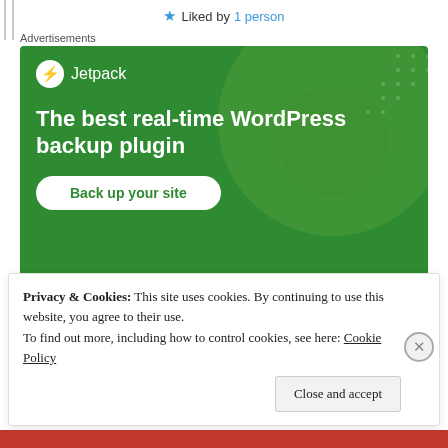★ Liked by 1 person
Advertisements
[Figure (screenshot): Jetpack advertisement banner on green background. Shows Jetpack logo (white circle with lightning bolt icon), headline 'The best real-time WordPress backup plugin', and a white rounded button labeled 'Back up your site'. Decorative green circles in background with dot pattern.]
REPORT THIS AD
Privacy & Cookies: This site uses cookies. By continuing to use this website, you agree to their use. To find out more, including how to control cookies, see here: Cookie Policy
Close and accept